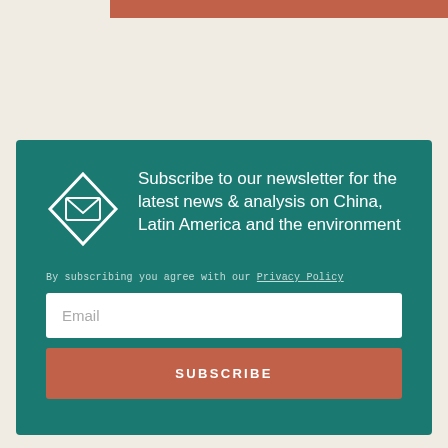[Figure (illustration): Partial coral/terracotta colored bar at top of page, cropped]
Subscribe to our newsletter for the latest news & analysis on China, Latin America and the environment
By subscribing you agree with our Privacy Policy
Email
SUBSCRIBE